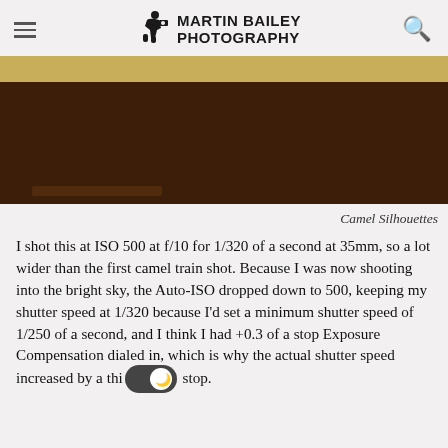Martin Bailey Photography
[Figure (photo): A dark brown photograph strip showing camel silhouettes along the top portion of the page, with a sandy/golden sky visible at the top edge.]
Camel Silhouettes
I shot this at ISO 500 at f/10 for 1/320 of a second at 35mm, so a lot wider than the first camel train shot. Because I was now shooting into the bright sky, the Auto-ISO dropped down to 500, keeping my shutter speed at 1/320 because I'd set a minimum shutter speed of 1/250 of a second, and I think I had +0.3 of a stop Exposure Compensation dialed in, which is why the actual shutter speed increased by a thi stop.